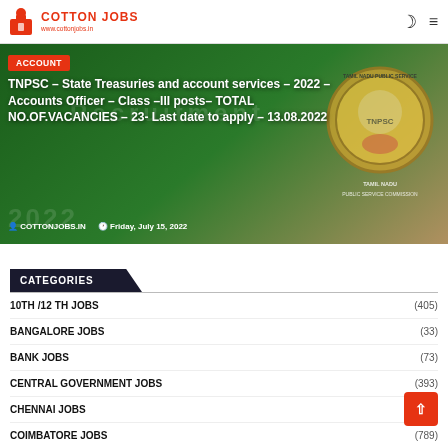COTTON JOBS | www.cottonjobs.in
[Figure (photo): TNPSC recruitment banner with green background, TNPSC seal, and article headline about State Treasuries and Accounts Officer posts]
TNPSC – State Treasuries and account services – 2022 – Accounts Officer – Class –III posts– TOTAL NO.OF.VACANCIES – 23- Last date to apply – 13.08.2022
COTTONJOBS.IN   Friday, July 15, 2022
CATEGORIES
10TH /12 TH JOBS (405)
BANGALORE JOBS (33)
BANK JOBS (73)
CENTRAL GOVERNMENT JOBS (393)
CHENNAI JOBS
COIMBATORE JOBS (789)